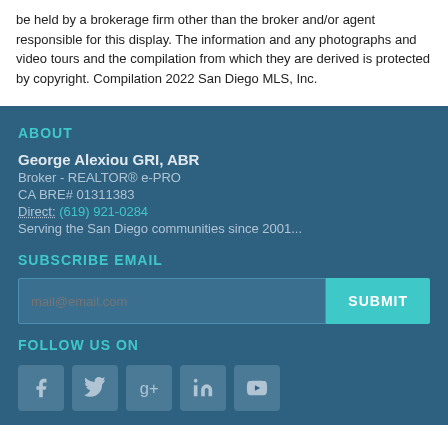be held by a brokerage firm other than the broker and/or agent responsible for this display. The information and any photographs and video tours and the compilation from which they are derived is protected by copyright. Compilation 2022 San Diego MLS, Inc.
ABOUT
George Alexiou GRI, ABR
Broker - REALTOR® e-PRO
CA BRE# 01311383
Direct: (619) 921-0284
Serving the San Diego communities since 2001...
SUBSCRIBE EMAIL
[Figure (other): Email subscription input field with placeholder 'mail@email.com' and a teal SUBMIT button]
FOLLOW US ON
[Figure (other): Row of 5 social media icons: Facebook, Twitter, Google+, LinkedIn, YouTube — styled as grey-blue square buttons]